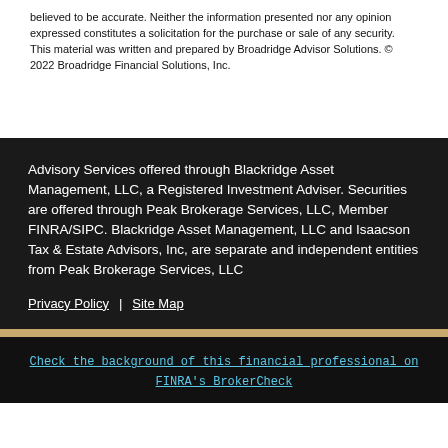believed to be accurate. Neither the information presented nor any opinion expressed constitutes a solicitation for the purchase or sale of any security. This material was written and prepared by Broadridge Advisor Solutions. © 2022 Broadridge Financial Solutions, Inc.
Advisory Services offered through Blackridge Asset Management, LLC, a Registered Investment Adviser. Securities are offered through Peak Brokerage Services, LLC, Member FINRA/SIPC. Blackridge Asset Management, LLC and Isaacson Tax & Estate Advisors, Inc, are separate and independent entities from Peak Brokerage Services, LLC
Privacy Policy  |  Site Map
Check the background of this financial professional on FINRA's BrokerCheck